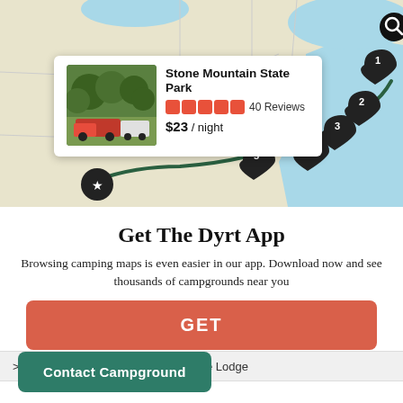[Figure (map): Interactive camping map showing a route across the eastern US with numbered markers (1-5) and a star marker, with a teal/green route line connecting the stops.]
Stone Mountain State Park
★★★★★ 40 Reviews
$23 / night
Get The Dyrt App
Browsing camping maps is even easier in our app. Download now and see thousands of campgrounds near you
GET
> Travel Resorts of America Sycamore Lodge
Contact Campground